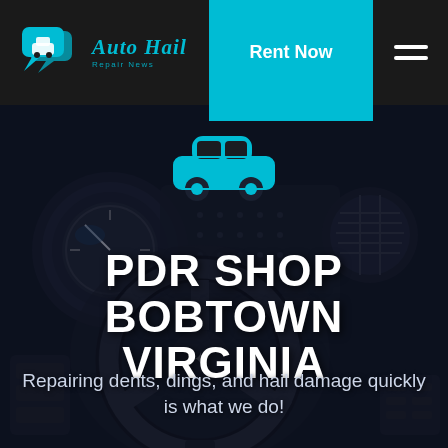Auto Hail Repair News — Rent Now
[Figure (photo): Car interior background showing steering wheel, dashboard instruments, and air vents in dark moody tones with blue overlay]
[Figure (illustration): Teal/cyan car icon silhouette centered above main title]
PDR SHOP BOBTOWN VIRGINIA
Repairing dents, dings, and hail damage quickly is what we do!